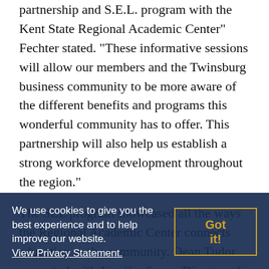partnership and S.E.L. program with the Kent State Regional Academic Center” Fechter stated. “These informative sessions will allow our members and the Twinsburg business community to be more aware of the different benefits and programs this wonderful community has to offer. This partnership will also help us establish a strong workforce development throughout the region.”
The SEL program showcased all the ways the Regional Academic Center connects education to the community. Dean Tudor presented with Jennifer Sayre, Director of Enrollment Management, and Judith Paternite, Associate Lecturer in Computer Technology. Some of the topics included the growth of the campus, available degrees, student internships and the outreach programs and workforce development program. Tabitha Martin, from LaunchNet, also spoke about how they support future
We use cookies to give you the best experience and to help improve our website. View Privacy Statement.